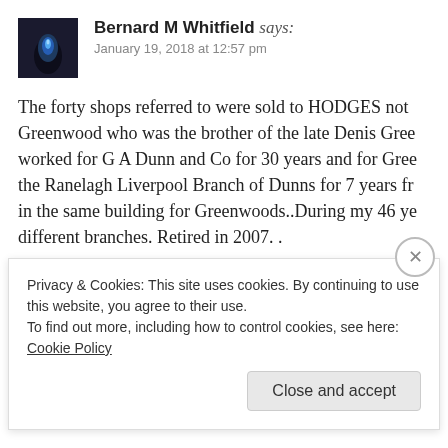[Figure (photo): Dark blue avatar/profile image with blue flame or light in center]
Bernard M Whitfield says:
January 19, 2018 at 12:57 pm
The forty shops referred to were sold to HODGES not Greenwood who was the brother of the late Denis Greenwood worked for G A Dunn and Co for 30 years and for Greenwood the Ranelagh Liverpool Branch of Dunns for 7 years fr in the same building for Greenwoods..During my 46 ye different branches. Retired in 2007. .
★ Like
Reply
Privacy & Cookies: This site uses cookies. By continuing to use this website, you agree to their use.
To find out more, including how to control cookies, see here: Cookie Policy
Close and accept